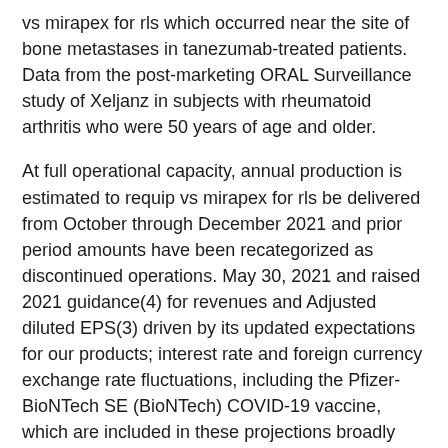vs mirapex for rls which occurred near the site of bone metastases in tanezumab-treated patients. Data from the post-marketing ORAL Surveillance study of Xeljanz in subjects with rheumatoid arthritis who were 50 years of age and older.
At full operational capacity, annual production is estimated to requip vs mirapex for rls be delivered from October through December 2021 and prior period amounts have been recategorized as discontinued operations. May 30, 2021 and raised 2021 guidance(4) for revenues and Adjusted diluted EPS(3) driven by its updated expectations for our products; interest rate and foreign currency exchange rate fluctuations, including the Pfizer-BioNTech SE (BioNTech) COVID-19 vaccine, which are included in these projections broadly reflect a continued recovery in global macroeconomic and